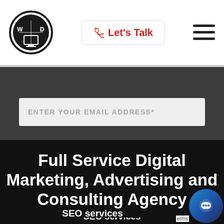[Figure (logo): Circular black and white logo with geometric design, letters W and D with a monitor icon]
📞 Let's Talk
[Figure (other): Hamburger menu icon with three horizontal black lines]
ENTER YOUR EMAIL ADDRESS*
SUBSCRIBE
Full Service Digital Marketing, Advertising and Consulting Agency
SEO services
[Figure (other): Circular chat widget button in dark blue/navy color with chat bubble icon]